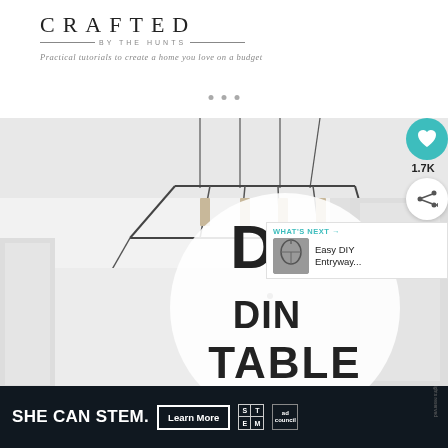CRAFTED BY THE HUNTS — Practical tutorials to create a home you love on a budget
[Figure (photo): A modern geometric metal pendant light fixture hanging from a white ceiling, photographed from below. A circular overlay graphic reads 'DIY DINING TABLE'. Floating UI buttons show a heart icon and share icon on the right side. 'What's Next' panel shows Easy DIY Entryway...]
[Figure (screenshot): Ad banner: dark background with 'SHE CAN STEM.' text, 'Learn More' button, STEM grid logo and Ad Council logo]